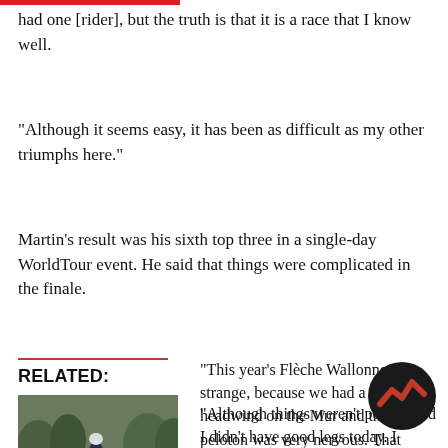had one [rider], but the truth is that it is a race that I know well.
“Although it seems easy, it has been as difficult as my other triumphs here.”
Martin’s result was his sixth top three in a single-day WorldTour event. He said that things were complicated in the finale.
RELATED:
[Figure (photo): Alejandro Valverde riding a bicycle on a road, wearing a cycling kit and helmet]
Alejandro Valverde victim of hit and run during training in
“This year’s Flèche Wallonne was strange, because we had a strong headwind on the Mur and the peloton was very nervous. That made for a messy finish and as a result I didn’t have the best position on the climb, where my plan was to take Alejandro’s wheel.
“Although things weren’t perfect and I didn’t have good legs today. I
[Figure (logo): Cyclingnews logo - black circle with red zigzag/mountain shape]